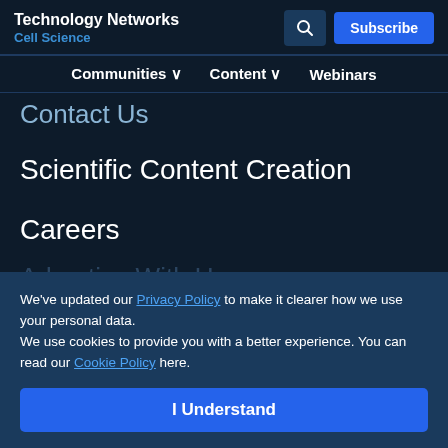Technology Networks
Cell Science
Communities ∨
Content ∨
Webinars
Contact Us
Scientific Content Creation
Careers
Editorial Policies
Aims and Scopes
Editorial Guidelines
We've updated our Privacy Policy to make it clearer how we use your personal data.
We use cookies to provide you with a better experience. You can read our Cookie Policy here.